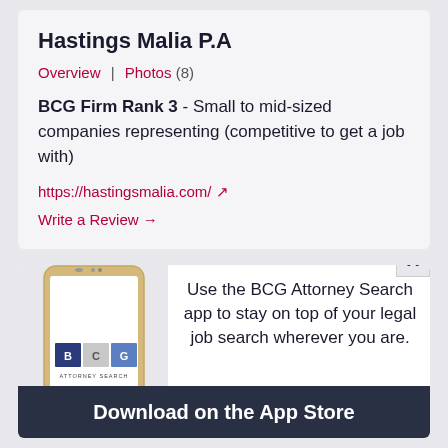Hastings Malia P.A
Overview | Photos (8)
BCG Firm Rank 3 - Small to mid-sized companies representing (competitive to get a job with)
https://hastingsmalia.com/ ↗
Write a Review →
[Figure (illustration): Building/office tower icon placeholder image in a white bordered box]
Use the BCG Attorney Search app to stay on top of your legal job search wherever you are.
[Figure (screenshot): BCG Attorney Search mobile app shown on a smartphone]
Download on the App Store